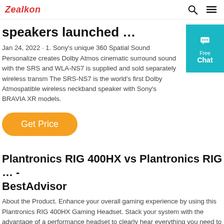Zealkon
speakers launched ...
Jan 24, 2022 · 1. Sony's unique 360 Spatial Sound Personalize creates Dolby Atmos cinematic surround sound with the SRS and WLA-NS7 is supplied and sold separately wireless transm The SRS-NS7 is the world's first Dolby Atmospatible wireless neckband speaker with Sony's BRAVIA XR models.
Get Price
Plantronics RIG 400HX vs Plantronics RIG ... - BestAdvisor
About the Product. Enhance your overall gaming experience by using this Plantronics RIG 400HX Gaming Headset. Stack your system with the advantage of a performance headset to clearly hear everything you need to win. Notice more audio cues and f